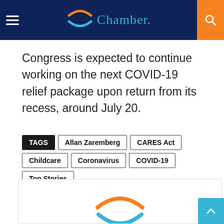Chamber.
Congress is expected to continue working on the next COVID-19 relief package upon return from its recess, around July 20.
TAGS  Allan Zaremberg  CARES Act  Childcare  Coronavirus  COVID-19  Top Stories
[Figure (logo): CalChamber logo — two curved arc shapes, one orange (top) and one blue (bottom), forming a stylized wing or swoosh icon]
CalChamber
The California Chamber of Commerce is the largest, broad-based